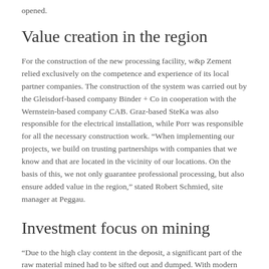opened.
Value creation in the region
For the construction of the new processing facility, w&p Zement relied exclusively on the competence and experience of its local partner companies. The construction of the system was carried out by the Gleisdorf-based company Binder + Co in cooperation with the Wernstein-based company CAB. Graz-based SteKa was also responsible for the electrical installation, while Porr was responsible for all the necessary construction work. “When implementing our projects, we build on trusting partnerships with companies that we know and that are located in the vicinity of our locations. On the basis of this, we not only guarantee professional processing, but also ensure added value in the region,” stated Robert Schmied, site manager at Peggau.
Investment focus on mining
“Due to the high clay content in the deposit, a significant part of the raw material mined had to be sifted out and dumped. With modern washing and sieving units as well as an additional sludge buffer, we are now able to separate clayey material from the pure raw stone,